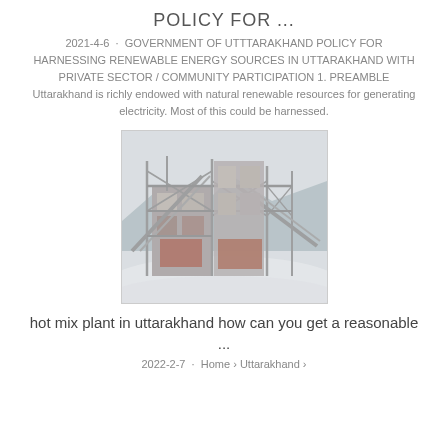POLICY FOR ...
2021-4-6 · GOVERNMENT OF UTTTARAKHAND POLICY FOR HARNESSING RENEWABLE ENERGY SOURCES IN UTTARAKHAND WITH PRIVATE SECTOR / COMMUNITY PARTICIPATION 1. PREAMBLE Uttarakhand is richly endowed with natural renewable resources for generating electricity. Most of this could be harnessed.
[Figure (photo): Industrial facility - hot mix plant with metal framework and conveyor structures, misty/dusty atmosphere, mountains in background]
hot mix plant in uttarakhand how can you get a reasonable ...
2022-2-7 · Home › Uttarakhand ›